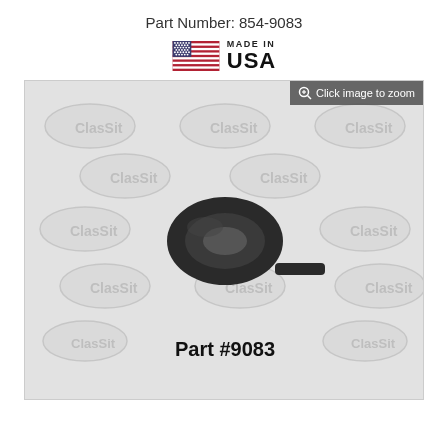Part Number: 854-9083
[Figure (logo): Made in USA flag logo with American flag and text 'MADE IN USA']
[Figure (photo): Product photo of a black rubber door seal strip (part #9083) coiled in a roll, displayed on a branded watermark background with car silhouette logos. A 'Click image to zoom' badge is in the top-right corner. The part number 'Part #9083' is printed in bold at the bottom of the product image.]